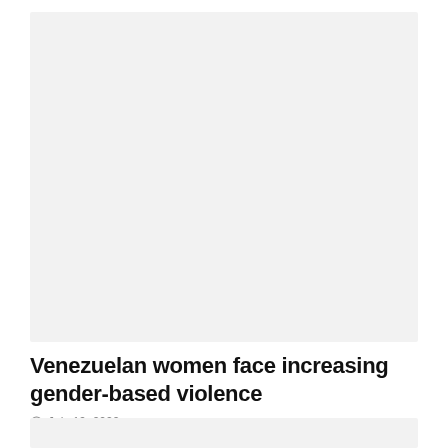[Figure (photo): Large image placeholder at top of article page, light gray background]
Venezuelan women face increasing gender-based violence
July 19, 2022
[Figure (photo): Second image placeholder at bottom of article page, light gray background, partially visible]